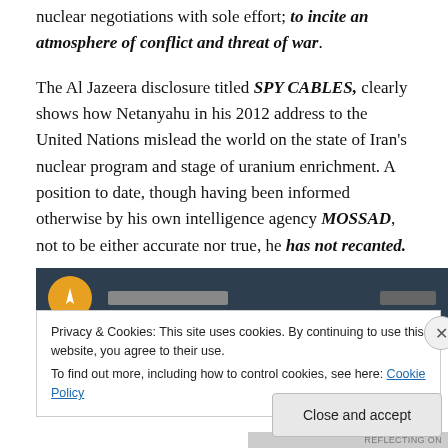nuclear negotiations with sole effort; to incite an atmosphere of conflict and threat of war.
The Al Jazeera disclosure titled SPY CABLES, clearly shows how Netanyahu in his 2012 address to the United Nations mislead the world on the state of Iran's nuclear program and stage of uranium enrichment. A position to date, though having been informed otherwise by his own intelligence agency MOSSAD, not to be either accurate nor true, he has not recanted.
[Figure (screenshot): Screenshot of Al Jazeera video/webpage partially obscured by a cookie consent banner]
Privacy & Cookies: This site uses cookies. By continuing to use this website, you agree to their use. To find out more, including how to control cookies, see here: Cookie Policy
Close and accept